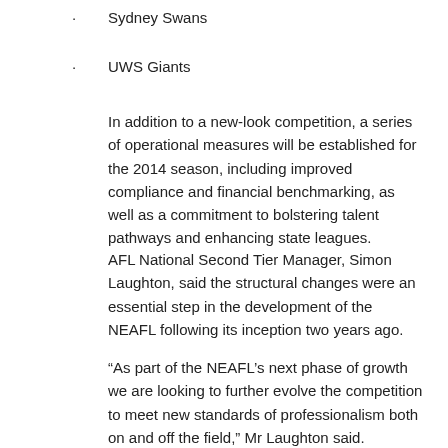Sydney Swans
UWS Giants
In addition to a new-look competition, a series of operational measures will be established for the 2014 season, including improved compliance and financial benchmarking, as well as a commitment to bolstering talent pathways and enhancing state leagues.
AFL National Second Tier Manager, Simon Laughton, said the structural changes were an essential step in the development of the NEAFL following its inception two years ago.
“As part of the NEAFL’s next phase of growth we are looking to further evolve the competition to meet new standards of professionalism both on and off the field,” Mr Laughton said.
“This is a natural progression for a competition that has established itself as the premier development league for the eastern and northern regions of Australia